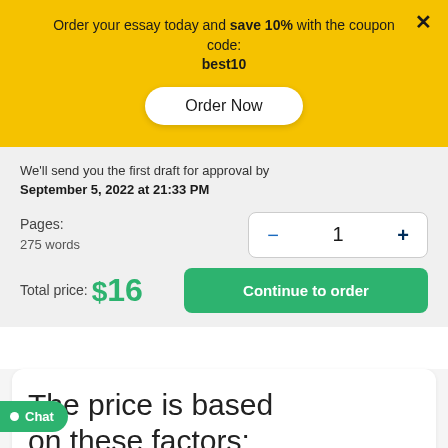Order your essay today and save 10% with the coupon code: best10
Order Now
We'll send you the first draft for approval by September 5, 2022 at 21:33 PM
Pages:
275 words
− 1 +
Total price: $16
Continue to order
The price is based on these factors:
Chat